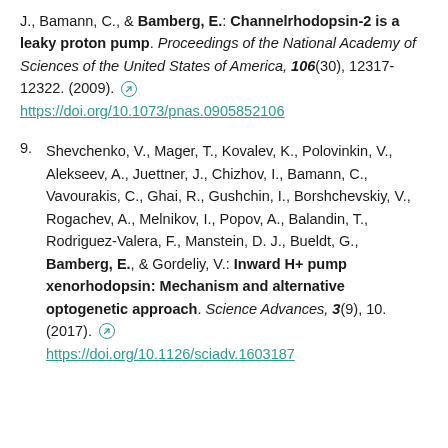J., Bamann, C., & Bamberg, E.: Channelrhodopsin-2 is a leaky proton pump. Proceedings of the National Academy of Sciences of the United States of America, 106(30), 12317-12322. (2009). https://doi.org/10.1073/pnas.0905852106
9. Shevchenko, V., Mager, T., Kovalev, K., Polovinkin, V., Alekseev, A., Juettner, J., Chizhov, I., Bamann, C., Vavourakis, C., Ghai, R., Gushchin, I., Borshchevskiy, V., Rogachev, A., Melnikov, I., Popov, A., Balandin, T., Rodriguez-Valera, F., Manstein, D. J., Bueldt, G., Bamberg, E., & Gordeliy, V.: Inward H+ pump xenorhodopsin: Mechanism and alternative optogenetic approach. Science Advances, 3(9), 10. (2017). https://doi.org/10.1126/sciadv.1603187